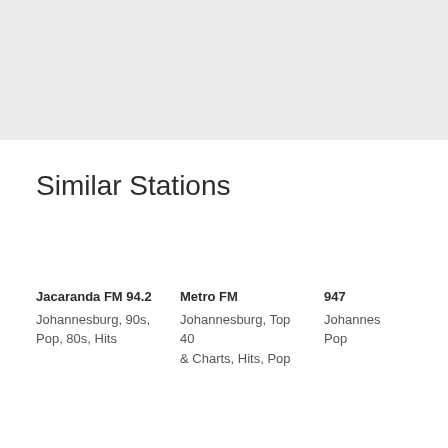[Figure (other): Gray rectangular banner area at the top of the page]
Similar Stations
Jacaranda FM 94.2
Johannesburg, 90s, Pop, 80s, Hits
Metro FM
Johannesburg, Top 40 & Charts, Hits, Pop
947
Johannes Pop